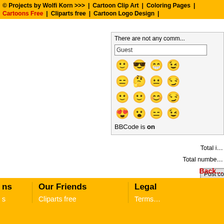© Projects by Wolfi Korn >>> | Cartoon Clip Art | Coloring Pages | Cartoons Free | Cliparts free | Cartoon Logo Design |
There are not any comme...
Guest
[Figure (illustration): 4x4 grid of orange emoji/smiley face icons]
BBCode is on
Post co...
Total i...
Total numbe...
Back
ns | Our Friends | Legal | Cliparts free | Terms